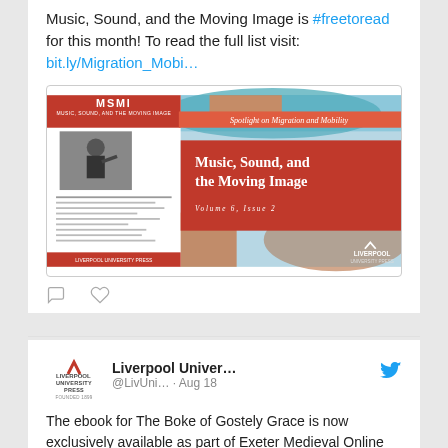Music, Sound, and the Moving Image is #freetoread for this month! To read the full list visit: bit.ly/Migration_Mobi…
[Figure (illustration): Book cover image for 'Music, Sound, and the Moving Image' Volume 6, Issue 2, with 'Spotlight on Migration and Mobility' banner, published by Liverpool University Press]
Liverpool Univer… @LivUni… · Aug 18
The ebook for The Boke of Gostely Grace is now exclusively available as part of Exeter Medieval Online mailchi.mp/liverpool/emo-… Browse the entire collection of